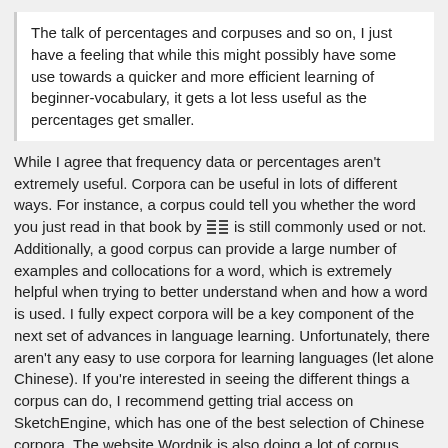The talk of percentages and corpuses and so on, I just have a feeling that while this might possibly have some use towards a quicker and more efficient learning of beginner-vocabulary, it gets a lot less useful as the percentages get smaller.
While I agree that frequency data or percentages aren't extremely useful. Corpora can be useful in lots of different ways. For instance, a corpus could tell you whether the word you just read in that book by [icon] is still commonly used or not. Additionally, a good corpus can provide a large number of examples and collocations for a word, which is extremely helpful when trying to better understand when and how a word is used. I fully expect corpora will be a key component of the next set of advances in language learning. Unfortunately, there aren't any easy to use corpora for learning languages (let alone Chinese). If you're interested in seeing the different things a corpus can do, I recommend getting trial access on SketchEngine, which has one of the best selection of Chinese corpora. The website Wordnik is also doing a lot of corpus related work for English.